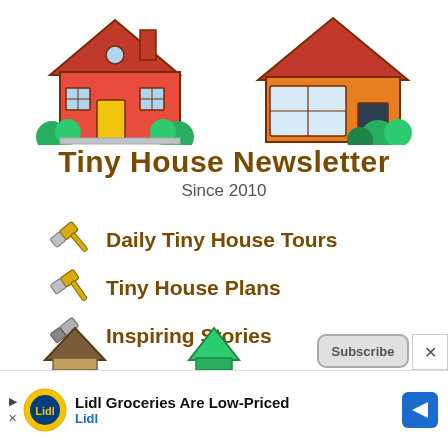[Figure (illustration): Two cartoon house illustrations at the top — a red/orange house on the left and an orange house on the right, both with cartoon-style decorations]
Tiny House Newsletter
Since 2010
Daily Tiny House Tours
Tiny House Plans
Inspiring Stories
Cabins And Cottages
Van And Bus Conversions
Tiny Homes For Sale
[Figure (illustration): Partial bottom row of small house/icon illustrations partially visible]
[Figure (illustration): Advertisement banner: Lidl Groceries Are Low-Priced, with Lidl logo and navigation arrow icon]